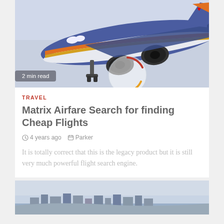[Figure (photo): Southwest Airlines airplane close-up from below, landing or taking off, blue and orange livery, hazy sky background]
2 min read
TRAVEL
Matrix Airfare Search for finding Cheap Flights
4 years ago  Parker
It is totally correct that this is the legacy product but it is still very much powerful flight search engine.
[Figure (photo): Coastal city view with buildings along the shoreline and hazy sky]